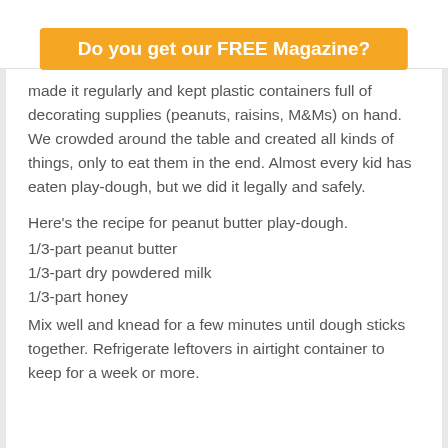Do you get our FREE Magazine?
made it regularly and kept plastic containers full of decorating supplies (peanuts, raisins, M&Ms) on hand. We crowded around the table and created all kinds of things, only to eat them in the end. Almost every kid has eaten play-dough, but we did it legally and safely.
Here's the recipe for peanut butter play-dough.
1/3-part peanut butter
1/3-part dry powdered milk
1/3-part honey
Mix well and knead for a few minutes until dough sticks together. Refrigerate leftovers in airtight container to keep for a week or more.